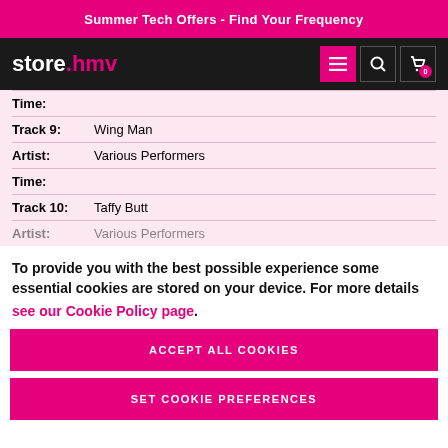Summer Tech Offers - Find Your Frequency
[Figure (screenshot): store.hmv navigation bar with logo, hamburger menu, search, and cart icons]
| Time: |  |
| Track 9: | Wing Man |
| Artist: | Various Performers |
| Time: |  |
| Track 10: | Taffy Butt |
| Artist: | Various Performers |
To provide you with the best possible experience some essential cookies are stored on your device. For more details see our Cookie Policy page.
ACCEPT ALL COOKIES
SET COOKIE PREFERENCES